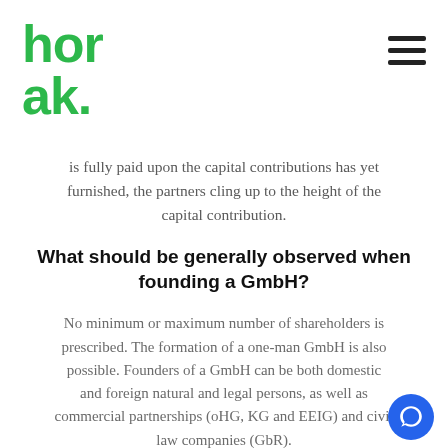horak.
is fully paid upon the capital contributions has yet furnished, the partners cling up to the height of the capital contribution.
What should be generally observed when founding a GmbH?
No minimum or maximum number of shareholders is prescribed. The formation of a one-man GmbH is also possible. Founders of a GmbH can be both domestic and foreign natural and legal persons, as well as commercial partnerships (oHG, KG and EEIG) and civil law companies (GbR).
Notarial certification is required for the GmbH contract and the protocol on the establishment of the comp… The articles of association must contain at least th…